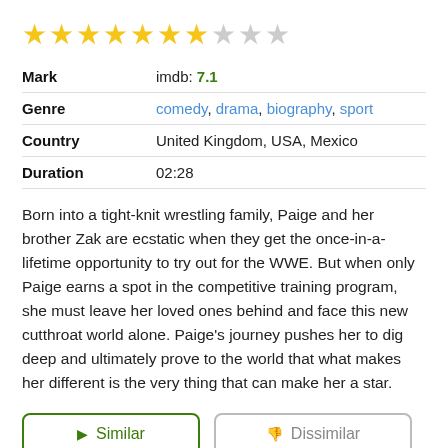[Figure (other): Star rating display: 7 filled gold stars, 1 half-filled grey star, 2 empty grey stars]
| Mark | imdb: 7.1 |
| Genre | comedy, drama, biography, sport |
| Country | United Kingdom, USA, Mexico |
| Duration | 02:28 |
Born into a tight-knit wrestling family, Paige and her brother Zak are ecstatic when they get the once-in-a-lifetime opportunity to try out for the WWE. But when only Paige earns a spot in the competitive training program, she must leave her loved ones behind and face this new cutthroat world alone. Paige's journey pushes her to dig deep and ultimately prove to the world that what makes her different is the very thing that can make her a star.
Similar
Dissimilar